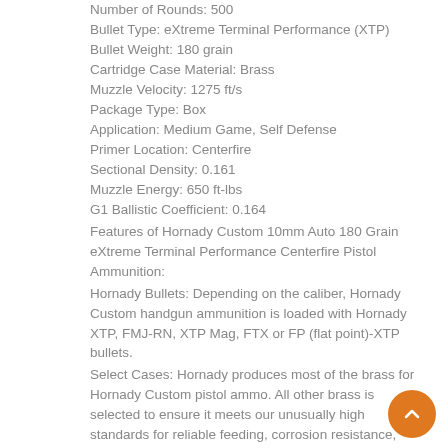Number of Rounds: 500
Bullet Type: eXtreme Terminal Performance (XTP)
Bullet Weight: 180 grain
Cartridge Case Material: Brass
Muzzle Velocity: 1275 ft/s
Package Type: Box
Application: Medium Game, Self Defense
Primer Location: Centerfire
Sectional Density: 0.161
Muzzle Energy: 650 ft-lbs
G1 Ballistic Coefficient: 0.164
Features of Hornady Custom 10mm Auto 180 Grain eXtreme Terminal Performance Centerfire Pistol Ammunition:
Hornady Bullets: Depending on the caliber, Hornady Custom handgun ammunition is loaded with Hornady XTP, FMJ-RN, XTP Mag, FTX or FP (flat point)-XTP bullets.
Select Cases: Hornady produces most of the brass for Hornady Custom pistol ammo. All other brass is selected to ensure it meets our unusually high standards for reliable feeding, corrosion resistance, proper hardness and the ability to withstand maximum chamber pressures.